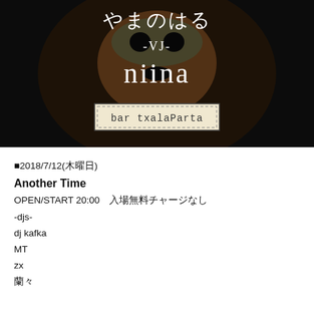[Figure (illustration): Event flyer image with dark background showing a face/mask. Text overlay reads Japanese characters やまのはる, -VJ-, niina, and bar txalaParta in a hand-drawn box.]
■2018/7/12(木曜日)
Another Time
OPEN/START 20:00　入場無料チャージなし
-djs-
dj kafka
MT
zx
蘭々